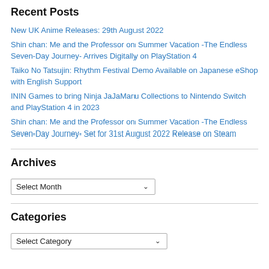Recent Posts
New UK Anime Releases: 29th August 2022
Shin chan: Me and the Professor on Summer Vacation -The Endless Seven-Day Journey- Arrives Digitally on PlayStation 4
Taiko No Tatsujin: Rhythm Festival Demo Available on Japanese eShop with English Support
ININ Games to bring Ninja JaJaMaru Collections to Nintendo Switch and PlayStation 4 in 2023
Shin chan: Me and the Professor on Summer Vacation -The Endless Seven-Day Journey- Set for 31st August 2022 Release on Steam
Archives
Select Month (dropdown)
Categories
Select Category (dropdown)